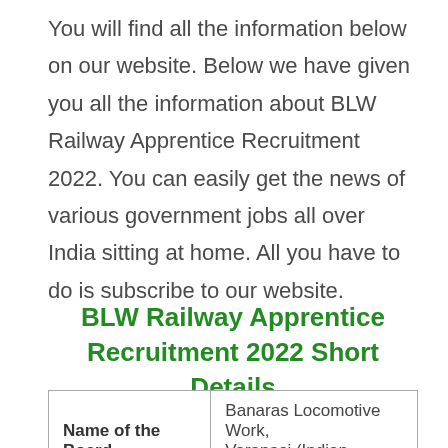You will find all the information below on our website. Below we have given you all the information about BLW Railway Apprentice Recruitment 2022. You can easily get the news of various government jobs all over India sitting at home. All you have to do is subscribe to our website.
BLW Railway Apprentice Recruitment 2022 Short Details
| Name of the Board | Banaras Locomotive Work, Varanasi (Indian Railway) |
| Name of Post | Trade Apprentice |